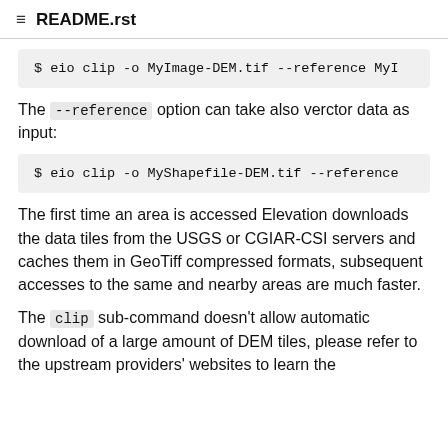README.rst
$ eio clip -o MyImage-DEM.tif --reference MyI
The --reference option can take also verctor data as input:
$ eio clip -o MyShapefile-DEM.tif --reference
The first time an area is accessed Elevation downloads the data tiles from the USGS or CGIAR-CSI servers and caches them in GeoTiff compressed formats, subsequent accesses to the same and nearby areas are much faster.
The clip sub-command doesn't allow automatic download of a large amount of DEM tiles, please refer to the upstream providers' websites to learn the